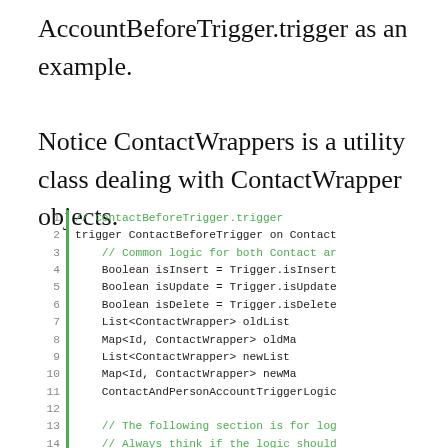AccountBeforeTrigger.trigger as an example. Notice ContactWrappers is a utility class dealing with ContactWrapper objects.
[Figure (screenshot): Code block showing ContactBeforeTrigger.trigger file with line numbers 1-16, a green vertical bar, and monospace code. Lines 1, 3, 13, 14 are in green (comments). Other lines in dark/black monospace font.]